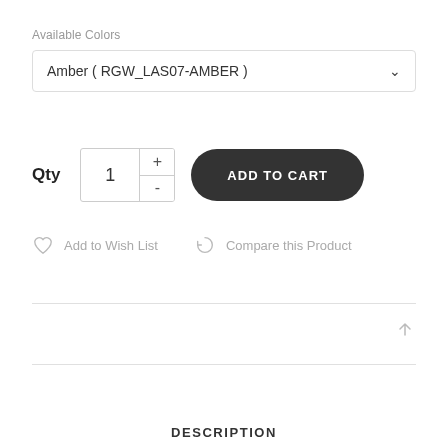Available Colors
Amber ( RGW_LAS07-AMBER )
Qty  1  +  -  ADD TO CART
Add to Wish List
Compare this Product
DESCRIPTION